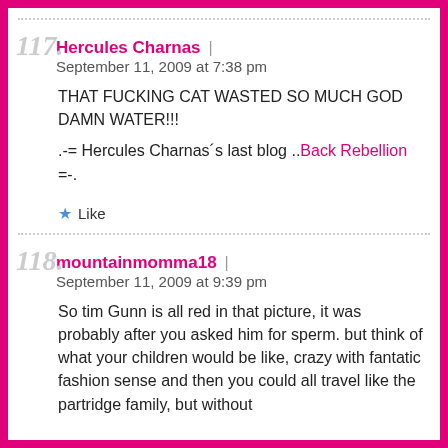117.
Hercules Charnas | September 11, 2009 at 7:38 pm
THAT FUCKING CAT WASTED SO MUCH GOD DAMN WATER!!!
.-= Hercules Charnas´s last blog ..Back Rebellion =-.
Like
118.
mountainmomma18 | September 11, 2009 at 9:39 pm
So tim Gunn is all red in that picture, it was probably after you asked him for sperm. but think of what your children would be like, crazy with fantatic fashion sense and then you could all travel like the partridge family, but without